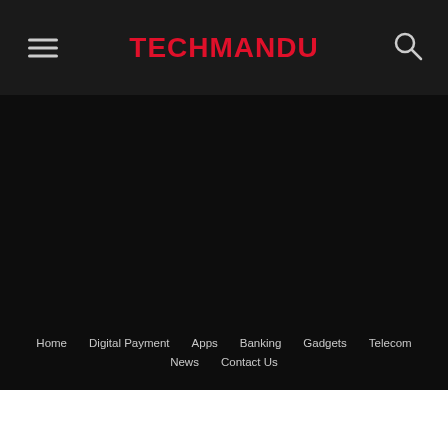TECHMANDU
Home
Digital Payment
Apps
Banking
Gadgets
Telecom
News
Contact Us